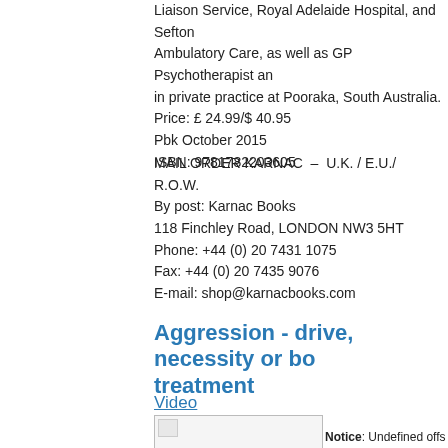Liaison Service, Royal Adelaide Hospital, and Sefton Ambulatory Care, as well as GP Psychotherapist and in private practice at Pooraka, South Australia. Price: £ 24.99/$ 40.95 Pbk October 2015 ISBN: 9781782203605
MAIL ORDER KARNAC – U.K. / E.U./ R.O.W.
By post: Karnac Books
118 Finchley Road, LONDON NW3 5HT
Phone: +44 (0) 20 7431 1075
Fax: +44 (0) 20 7435 9076
E-mail: shop@karnacbooks.com
Aggression - drive, necessity or bo treatment
Video
[Figure (photo): Small broken image placeholder]
Notice: Undefined offs